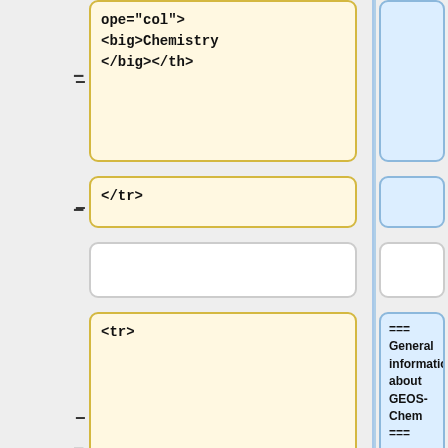ope="col"> <big>Chemistry </big></th>
</tr>
<tr>
=== General information about GEOS-Chem ===
<!-- Emissions: Links -->
The table below lists where you can find general information about GEOS-Chem.
<td width="50%"